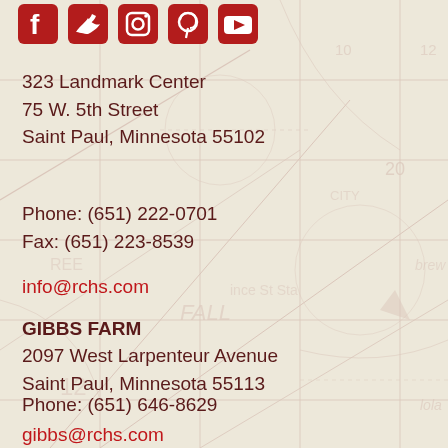[Figure (infographic): Social media icons: Facebook, Twitter, Instagram, Pinterest, YouTube in red on beige/map background]
323 Landmark Center
75 W. 5th Street
Saint Paul, Minnesota 55102
Phone: (651) 222-0701
Fax: (651) 223-8539
info@rchs.com
GIBBS FARM
2097 West Larpenteur Avenue
Saint Paul, Minnesota 55113
Phone: (651) 646-8629
gibbs@rchs.com